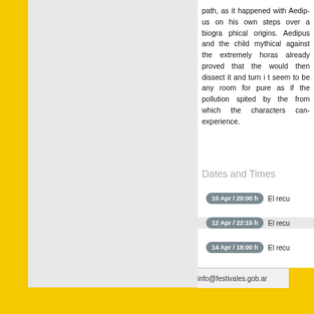path, as it happened with Aedip... on his own steps over a biogra... origins. Aedipus and the child... mythical against the extremely... horas already proved that the... would then dissect it and turn i... seem to be any room for pure... as if the pollution spited by the... from which the characters can... experience.
Dates and Times
10 Apr / 20:00 h   El recu...
12 Apr / 22:15 h   El recu...
14 Apr / 18:00 h   El recu...
info@festivales.gob.ar